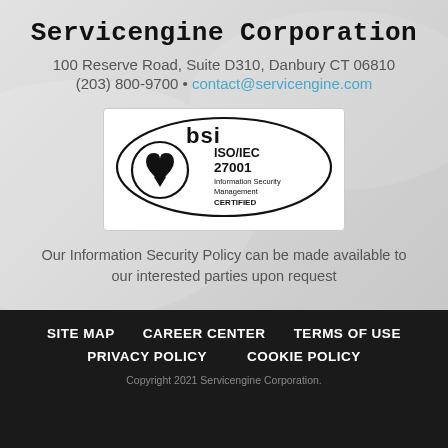Servicengine Corporation
100 Reserve Road, Suite D310, Danbury CT 06810
(203) 800-9700 • contact@servicengine.com
[Figure (logo): BSI ISO/IEC 27001 Information Security Management CERTIFIED badge with heart-shaped logo]
Our Information Security Policy can be made available to our interested parties upon request
SITE MAP   CAREER CENTER   TERMS OF USE   PRIVACY POLICY   COOKIE POLICY   Copyright 2021 Servicengine Corporation.